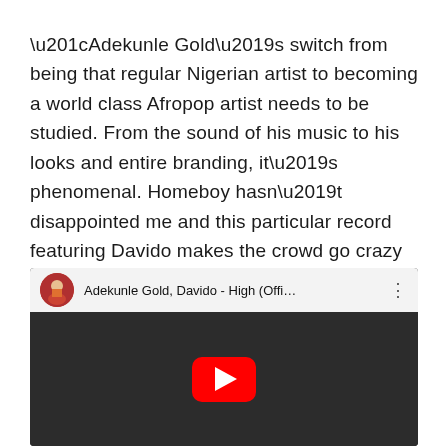“Adekunle Gold’s switch from being that regular Nigerian artist to becoming a world class Afropop artist needs to be studied. From the sound of his music to his looks and entire branding, it’s phenomenal. Homeboy hasn’t disappointed me and this particular record featuring Davido makes the crowd go crazy anytime it comes on during my set.”
[Figure (screenshot): YouTube video embed showing Adekunle Gold and Davido - High (Official...) with YouTube play button overlay and video thumbnail showing two men in suits]